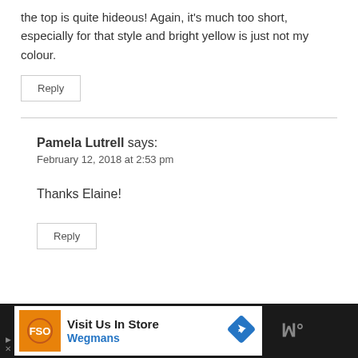the top is quite hideous! Again, it's much too short, especially for that style and bright yellow is just not my colour.
Reply
Pamela Lutrell says:
February 12, 2018 at 2:53 pm
Thanks Elaine!
Reply
[Figure (infographic): Advertisement banner for Wegmans with orange logo, 'Visit Us In Store' text, blue directional arrow diamond icon, and dark background on sides.]